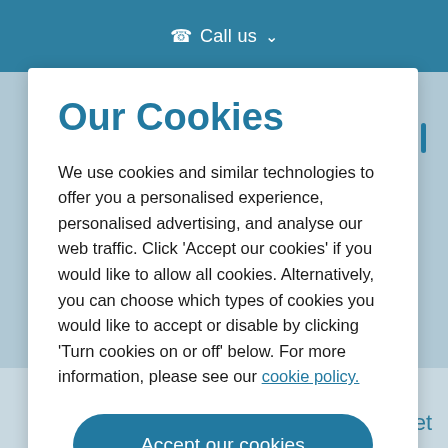Call us
Our Cookies
We use cookies and similar technologies to offer you a personalised experience, personalised advertising, and analyse our web traffic. Click 'Accept our cookies' if you would like to allow all cookies. Alternatively, you can choose which types of cookies you would like to accept or disable by clicking 'Turn cookies on or off' below. For more information, please see our cookie policy.
Accept our cookies
Turn cookies on or off
Video Vet